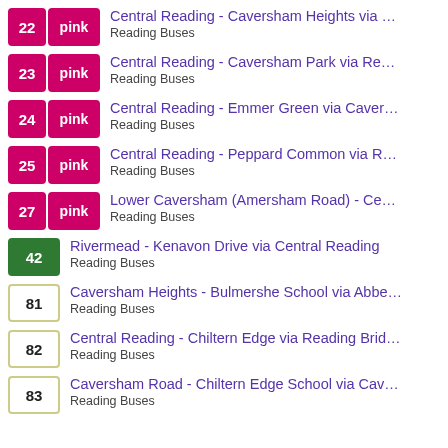22 pink — Central Reading - Caversham Heights via ... | Reading Buses
23 pink — Central Reading - Caversham Park via Re... | Reading Buses
24 pink — Central Reading - Emmer Green via Caver... | Reading Buses
25 pink — Central Reading - Peppard Common via R... | Reading Buses
27 pink — Lower Caversham (Amersham Road) - Ce... | Reading Buses
42 — Rivermead - Kenavon Drive via Central Reading | Reading Buses
81 — Caversham Heights - Bulmershe School via Abbe... | Reading Buses
82 — Central Reading - Chiltern Edge via Reading Brid... | Reading Buses
83 — Caversham Road - Chiltern Edge School via Cav... | Reading Buses